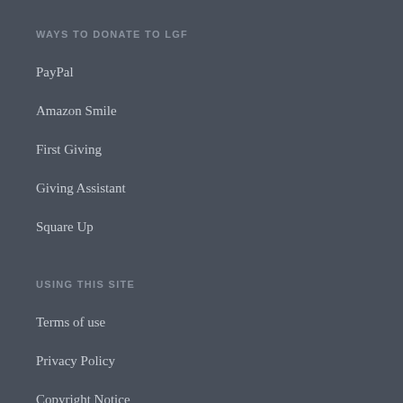WAYS TO DONATE TO LGF
PayPal
Amazon Smile
First Giving
Giving Assistant
Square Up
USING THIS SITE
Terms of use
Privacy Policy
Copyright Notice
Donor Privacy